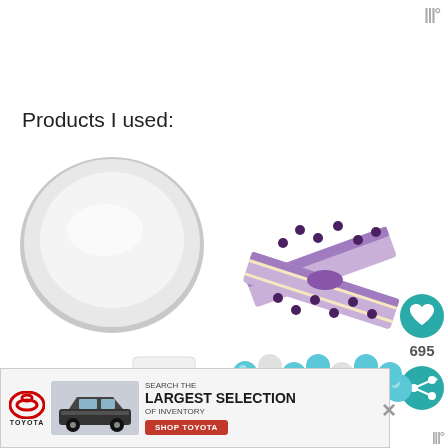W°
Products I used:
[Figure (photo): Round silver aluminum pizza/cake pan, top view, on white background]
[Figure (photo): Two purple fabric bands/straps with dark blue floral print, crossed over each other]
[Figure (photo): Small Wilton branded product packaging, partially visible]
[Figure (photo): Collection of teal/turquoise and white/pearl round candy balls or gumballs]
[Figure (infographic): Toyota advertisement banner: Toyota logo, car image, text SEARCH THE LARGEST SELECTION OF INVENTORY, SHOP TOYOTA red button]
W°